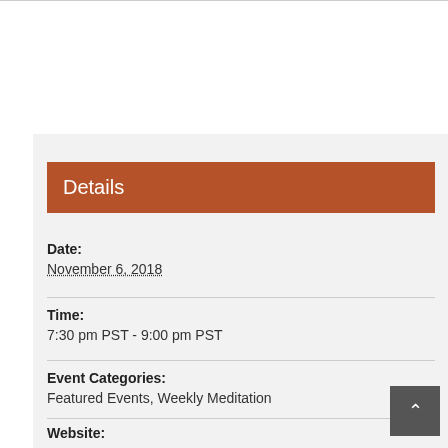Details
Date:
November 6, 2018
Time:
7:30 pm PST - 9:00 pm PST
Event Categories:
Featured Events, Weekly Meditation
Website: